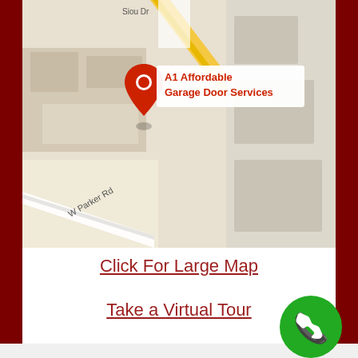[Figure (map): Google Maps screenshot showing location pin for A1 Affordable Garage Door Services near W Parker Rd intersection]
Click For Large Map
Take a Virtual Tour
[Figure (other): Green circular phone call button with white phone handset icon in bottom right corner]